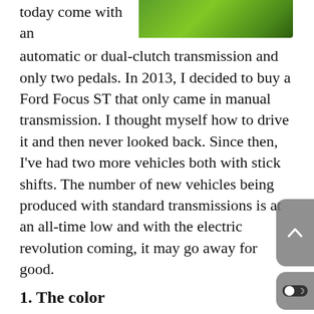today come with an
[Figure (photo): Close-up of a bright green car exterior, showing the vivid Mojito green paint color]
automatic or dual-clutch transmission and only two pedals. In 2013, I decided to buy a Ford Focus ST that only came in manual transmission. I thought myself how to drive it and then never looked back. Since then, I've had two more vehicles both with stick shifts. The number of new vehicles being produced with standard transmissions is at an all-time low and with the electric revolution coming, it may go away for good.
1. The color
I've always wanted a green car. It's my favorite color and you rarely see cars any color except white, black, gray, or red. My previous two vehicles have been yellow/orange and blue and I finally got my green car. Mojito! the name that Jeep gave this